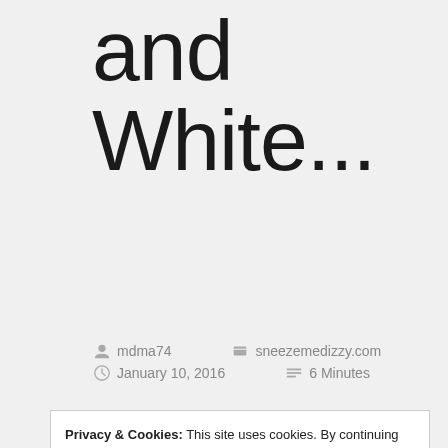and White...
mdma74   sneezemedizzy.com
January 10, 2016   6 Minutes
Privacy & Cookies: This site uses cookies. By continuing to use this website, you agree to their use.
To find out more, including how to control cookies, see here: Cookie Policy
Close and accept
that I'd had so few side effects